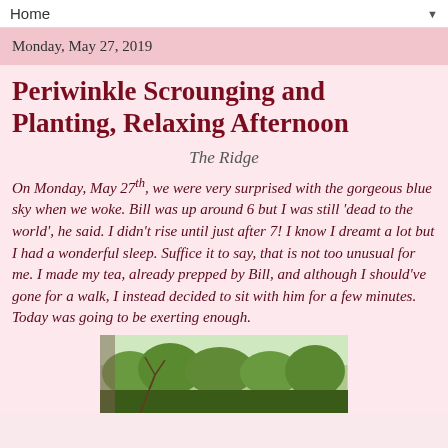Home ▼
Monday, May 27, 2019
Periwinkle Scrounging and Planting, Relaxing Afternoon
The Ridge
On Monday, May 27th, we were very surprised with the gorgeous blue sky when we woke. Bill was up around 6 but I was still 'dead to the world', he said. I didn't rise until just after 7! I know I dreamt a lot but I had a wonderful sleep. Suffice it to say, that is not too unusual for me. I made my tea, already prepped by Bill, and although I should've gone for a walk, I instead decided to sit with him for a few minutes. Today was going to be exerting enough.
[Figure (photo): Outdoor photo showing trees with green foliage viewed from inside through a window]